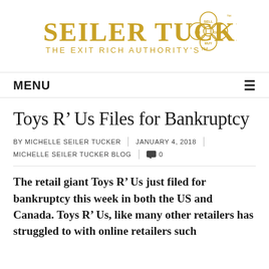[Figure (logo): Seiler Tucker logo with golden text 'SEILER TUCKER' and tagline 'THE EXIT RICH AUTHORITY'S™' with a decorative clover/flower icon containing SELL, FIX, GROW, BUY labels]
MENU
Toys R' Us Files for Bankruptcy
BY MICHELLE SEILER TUCKER | JANUARY 4, 2018
MICHELLE SEILER TUCKER BLOG  0
The retail giant Toys R' Us just filed for bankruptcy this week in both the US and Canada. Toys R' Us, like many other retailers has struggled to with online retailers such